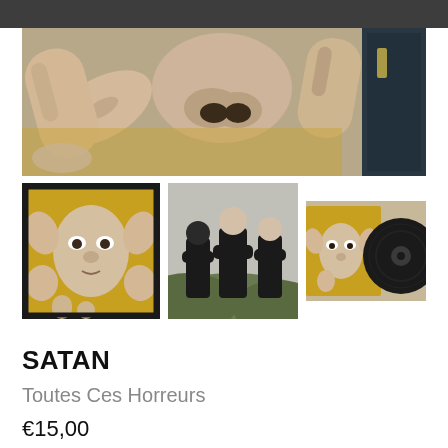[Figure (photo): Close-up painting of body parts (ears, noses, fingers) in a case, top banner image for album product page]
[Figure (photo): Left bottom: painting of a face surrounded by ears and body parts in a suitcase]
[Figure (photo): Center bottom: photo of three people standing outdoors dressed in black]
[Figure (photo): Right bottom: album cover with face art next to a black vinyl record]
SATAN
Toutes Ces Horreurs
€15,00